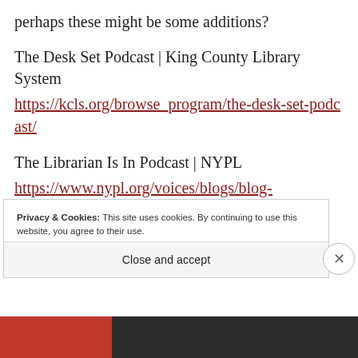perhaps these might be some additions?
The Desk Set Podcast | King County Library System
https://kcls.org/browse_program/the-desk-set-podcast/
The Librarian Is In Podcast | NYPL
https://www.nypl.org/voices/blogs/blog-
Privacy & Cookies: This site uses cookies. By continuing to use this website, you agree to their use.
To find out more, including how to control cookies, see here: Cookie Policy
Close and accept